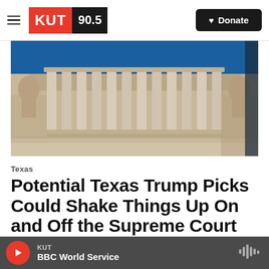KUT 90.5 — Donate
[Figure (photo): Exterior of the United States Supreme Court building showing tall white marble columns, stone steps, and classical sculptures on either side under a blue sky]
Texas
Potential Texas Trump Picks Could Shake Things Up On and Off the Supreme Court
Rhonda Fanning,  December 13, 2016
From Texas Standard: When Supreme Court Justice...